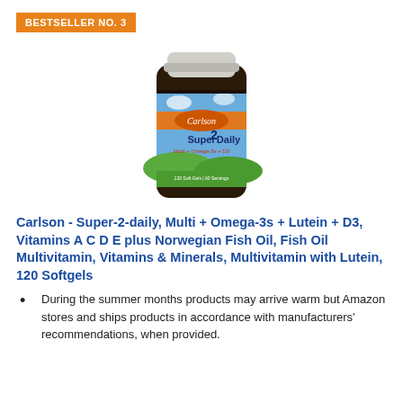BESTSELLER NO. 3
[Figure (photo): Product photo of Carlson Super 2 Daily supplement bottle — dark bottle with white cap, colorful label showing mountains, sky, and green fields, with 'Carlson Super 2 Daily Multi + Omega-3s + D3' text, 120 Soft Gels]
Carlson - Super-2-daily, Multi + Omega-3s + Lutein + D3, Vitamins A C D E plus Norwegian Fish Oil, Fish Oil Multivitamin, Vitamins & Minerals, Multivitamin with Lutein, 120 Softgels
During the summer months products may arrive warm but Amazon stores and ships products in accordance with manufacturers' recommendations, when provided.